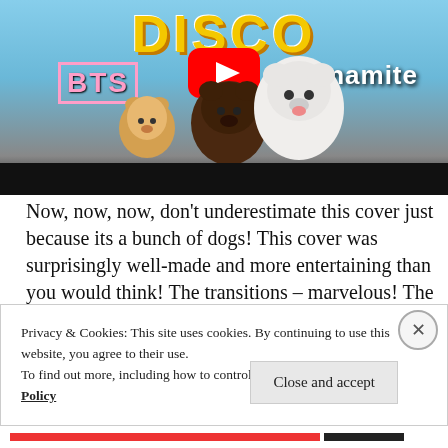[Figure (screenshot): YouTube video thumbnail showing BTS Dynamite cover with dogs (Pomeranian and Doge meme), with YouTube play button overlay, 'DISCO' text in yellow at top, 'BTS' in pink on left, 'Dynamite' in white on right, black bar at bottom]
Now, now, now, don't underestimate this cover just because its a bunch of dogs! This cover was surprisingly well-made and more entertaining than you would think! The transitions – marvelous! The vocals? A++~ The visuals – absolutely stunning! Let's not forget the
Privacy & Cookies: This site uses cookies. By continuing to use this website, you agree to their use.
To find out more, including how to control cookies, see here: Cookie Policy
Close and accept